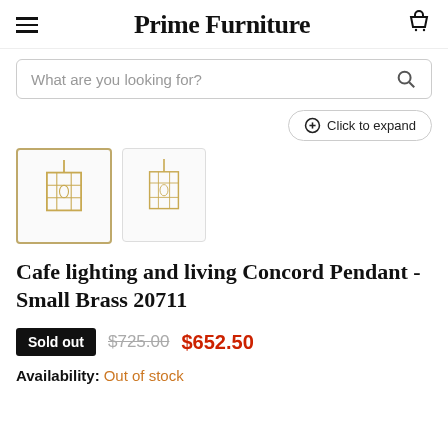Prime Furniture
What are you looking for?
[Figure (screenshot): Two thumbnail images of a pendant light fixture (Cafe lighting and living Concord Pendant - Small Brass 20711), with the first thumbnail selected/highlighted with a gold border]
Cafe lighting and living Concord Pendant - Small Brass 20711
Sold out  $725.00  $652.50
Availability: Out of stock